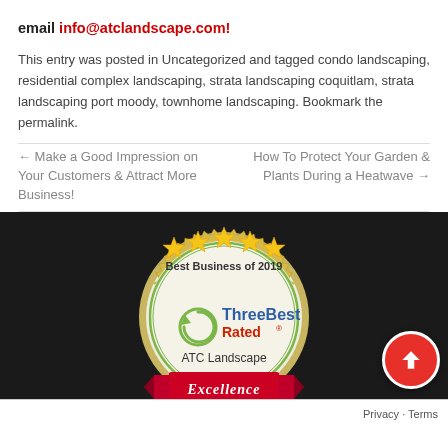email info@atclandscape.com!
This entry was posted in Uncategorized and tagged condo landscaping, residential complex landscaping, strata landscaping coquitlam, strata landscaping port moody, townhome landscaping. Bookmark the permalink.
← Make a Good Impression on Your Customers & Attract More Business!    How To Protect Your Garden & Plants During a Heatwave →
[Figure (logo): ThreeBest Rated Best Business of 2019 badge with gold stars, green and white circular seal, ATC Landscape name, and red Excellence ribbon banner at bottom, on dark background]
Privacy · Terms